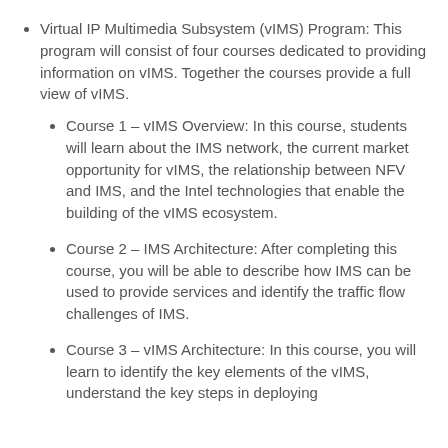Virtual IP Multimedia Subsystem (vIMS) Program: This program will consist of four courses dedicated to providing information on vIMS. Together the courses provide a full view of vIMS.
Course 1 – vIMS Overview: In this course, students will learn about the IMS network, the current market opportunity for vIMS, the relationship between NFV and IMS, and the Intel technologies that enable the building of the vIMS ecosystem.
Course 2 – IMS Architecture: After completing this course, you will be able to describe how IMS can be used to provide services and identify the traffic flow challenges of IMS.
Course 3 – vIMS Architecture: In this course, you will learn to identify the key elements of the vIMS, understand the key steps in deploying